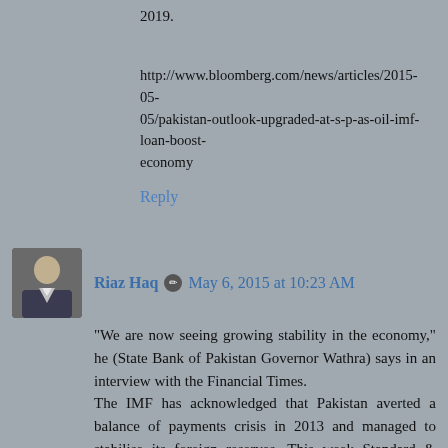2019.
http://www.bloomberg.com/news/articles/2015-05-05/pakistan-outlook-upgraded-at-s-p-as-oil-imf-loan-boost-economy
Reply
Riaz Haq  May 6, 2015 at 10:23 AM
“We are now seeing growing stability in the economy,” he (State Bank of Pakistan Governor Wathra) says in an interview with the Financial Times.
The IMF has acknowledged that Pakistan averted a balance of payments crisis in 2013 and managed to stabilise its foreign reserves. This week Standard & Poor’s, the credit rating agency, raised the outlook for its B minus rating from stable to positive, while Moody’s last month raised its outlook to stable from negative — albeit for a Caa1 rating, which puts it one notch above Greece.
With liquid foreign reserves having grown almost fourfold in the past year to $12.5bn, a figure equivalent to about three months of imports, Mr Wathra has less cause for concern